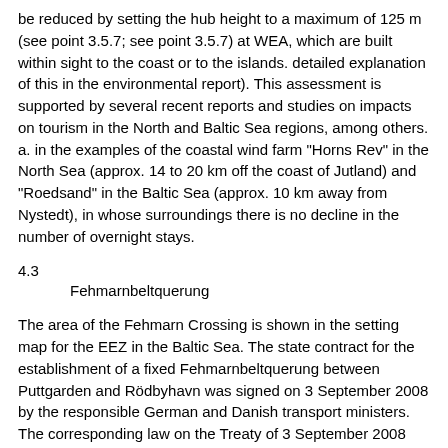be reduced by setting the hub height to a maximum of 125 m (see point 3.5.7; see point 3.5.7) at WEA, which are built within sight to the coast or to the islands. detailed explanation of this in the environmental report). This assessment is supported by several recent reports and studies on impacts on tourism in the North and Baltic Sea regions, among others. a. in the examples of the coastal wind farm "Horns Rev" in the North Sea (approx. 14 to 20 km off the coast of Jutland) and "Roedsand" in the Baltic Sea (approx. 10 km away from Nystedt), in whose surroundings there is no decline in the number of overnight stays.
4.3 Fehmarnbeltquerung
The area of the Fehmarn Crossing is shown in the setting map for the EEZ in the Baltic Sea. The state contract for the establishment of a fixed Fehmarnbeltquerung between Puttgarden and Rödbyhavn was signed on 3 September 2008 by the responsible German and Danish transport ministers. The corresponding law on the Treaty of 3 September 2008 between the Federal Republic of Germany and the Kingdom of Denmark on a fixed Fehmarnbeltquerung came into force on 24 July 2009